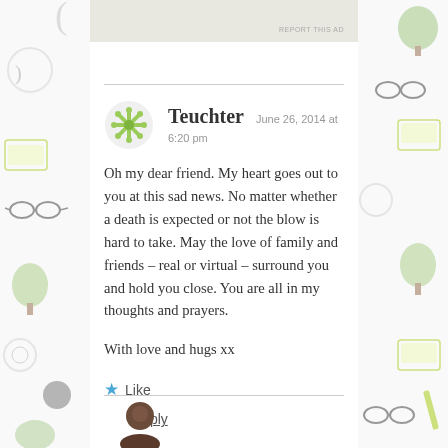REPORT THIS AD
[Figure (illustration): Green snowflake/asterisk avatar icon for user Teuchter]
Teuchter  June 26, 2014 at 6:20 pm
Oh my dear friend. My heart goes out to you at this sad news. No matter whether a death is expected or not the blow is hard to take. May the love of family and friends – real or virtual – surround you and hold you close. You are all in my thoughts and prayers.

With love and hugs xx
★ Like
Reply